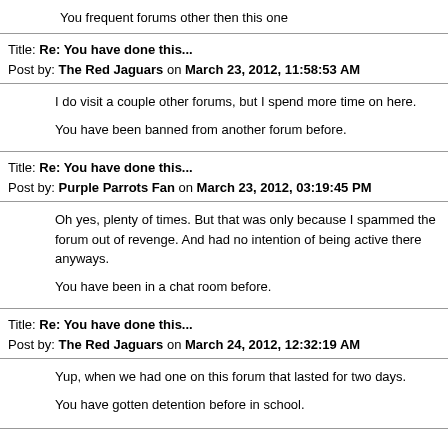You frequent forums other then this one
Title: Re: You have done this...
Post by: The Red Jaguars on March 23, 2012, 11:58:53 AM
I do visit a couple other forums, but I spend more time on here.
You have been banned from another forum before.
Title: Re: You have done this...
Post by: Purple Parrots Fan on March 23, 2012, 03:19:45 PM
Oh yes, plenty of times. But that was only because I spammed the forum out of revenge. And had no intention of being active there anyways.
You have been in a chat room before.
Title: Re: You have done this...
Post by: The Red Jaguars on March 24, 2012, 12:32:19 AM
Yup, when we had one on this forum that lasted for two days.
You have gotten detention before in school.